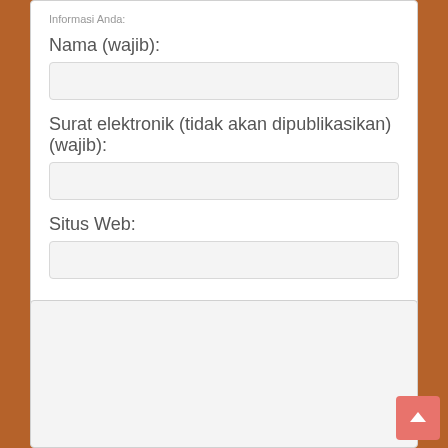Informasi Anda:
Nama (wajib):
Surat elektronik (tidak akan dipublikasikan) (wajib):
Situs Web:
[Figure (screenshot): A web form with fields for Nama (wajib), Surat elektronik (tidak akan dipublikasikan) (wajib), and Situs Web, followed by a large textarea area and a salmon-colored scroll-to-top button in the bottom-right corner.]